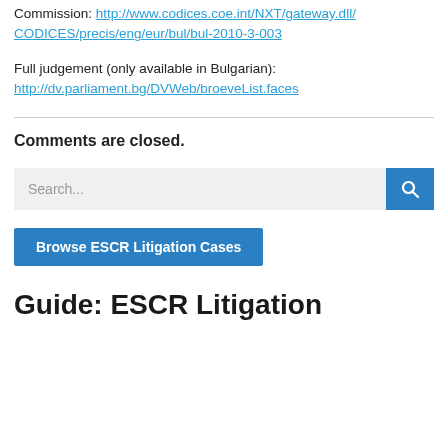Commission: http://www.codices.coe.int/NXT/gateway.dll/CODICES/precis/eng/eur/bul/bul-2010-3-003
Full judgement (only available in Bulgarian): http://dv.parliament.bg/DVWeb/broeveList.faces
Comments are closed.
Search...
Browse ESCR Litigation Cases
Guide: ESCR Litigation